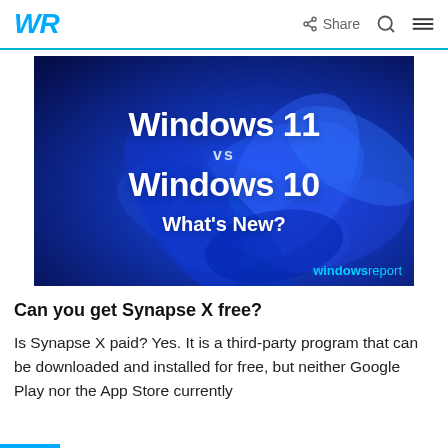WR  Share
[Figure (illustration): Windows Report advertisement banner showing 'Windows 11 vs Windows 10 What's New?' text on a dark blue background with abstract blue flowing shapes, windowsreport branding in bottom right.]
Can you get Synapse X free?
Is Synapse X paid? Yes. It is a third-party program that can be downloaded and installed for free, but neither Google Play nor the App Store currently